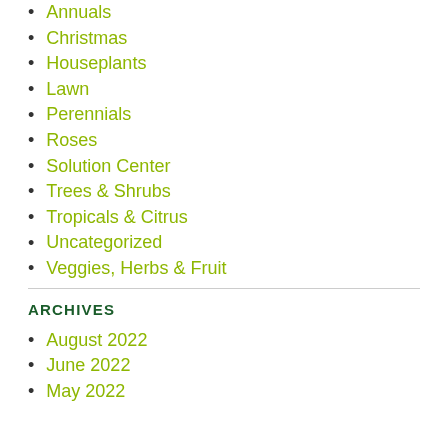Annuals
Christmas
Houseplants
Lawn
Perennials
Roses
Solution Center
Trees & Shrubs
Tropicals & Citrus
Uncategorized
Veggies, Herbs & Fruit
ARCHIVES
August 2022
June 2022
May 2022